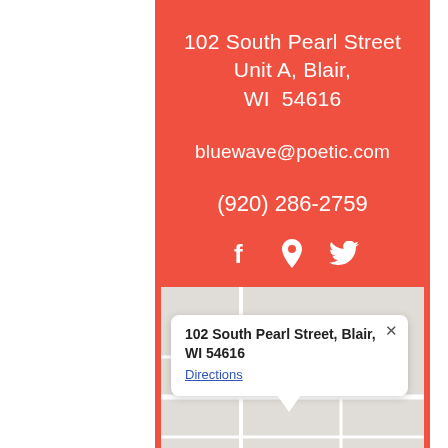102 South Pearl Street Unit A, Blair, WI  54616
bluewave@poetic.com
(920) 286-2759
[Figure (infographic): Social media icons: Facebook (f), Google Maps location pin, Twitter bird]
[Figure (map): Google Maps screenshot showing a map with a popup info window reading '102 South Pearl Street, Blair, WI 54616' with a Directions link and a close (x) button]